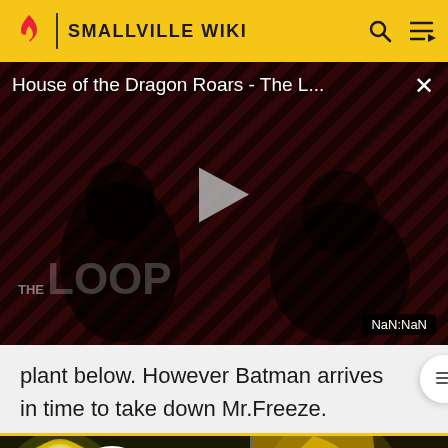SMALLVILLE WIKI
[Figure (screenshot): Video player showing 'House of the Dragon Roars - The L...' with THE LOOP watermark and play button, timer showing NaN:NaN]
plant below. However Batman arrives in time to take down Mr.Freeze.
[Figure (illustration): Comic book style illustration with a character in yellow armor/costume, speech bubble reading 'I APOLOGIZE FOR WHAT IS TO COME...' Split into two panels.]